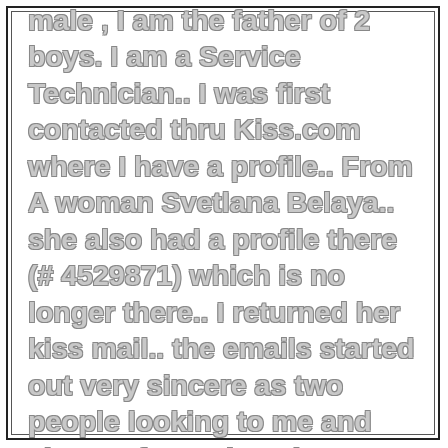male , I am the father of 2 boys. I am a Service Technician.. I was first contacted thru Kiss.com where I have a profile.. From A woman Svetlana Belaya.. she also had a profile there (# 4529871) which is no longer there.. I returned her kiss mail.. the emails started out very sincere as two people looking to me and share Information about each other.. then sharply turned to love and cant live without you.. Wanting to meet and getting a visa to air travel.. The first letter started on August 28th 2001 and lasted about 1 1/2 months with regular emails